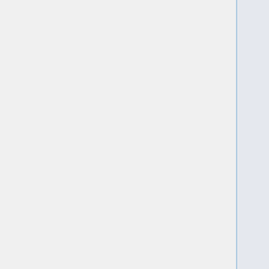hasParticipantRole
isteredPerson
reco